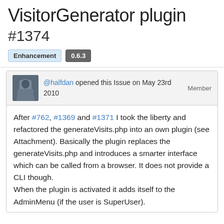VisitorGenerator plugin
#1374
Enhancement  0.6.3
@halfdan opened this Issue on May 23rd 2010   Member
After #762, #1369 and #1371 I took the liberty and refactored the generateVisits.php into an own plugin (see Attachment). Basically the plugin replaces the generateVisits.php and introduces a smarter interface which can be called from a browser. It does not provide a CLI though.
When the plugin is activated it adds itself to the AdminMenu (if the user is SuperUser).